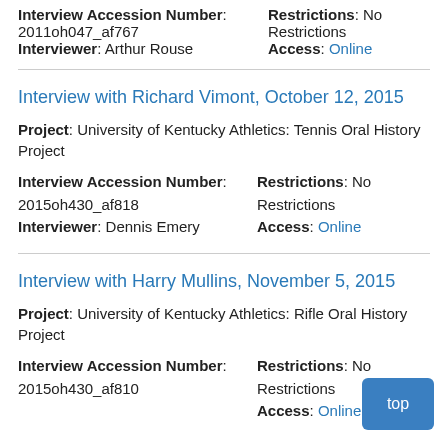Interview Accession Number: 2011oh047_af767 Interviewer: Arthur Rouse | Restrictions: No Restrictions Access: Online
Interview with Richard Vimont, October 12, 2015
Project: University of Kentucky Athletics: Tennis Oral History Project
Interview Accession Number: 2015oh430_af818 Interviewer: Dennis Emery | Restrictions: No Restrictions Access: Online
Interview with Harry Mullins, November 5, 2015
Project: University of Kentucky Athletics: Rifle Oral History Project
Interview Accession Number: 2015oh430_af810 | Restrictions: No Restrictions Access: Online